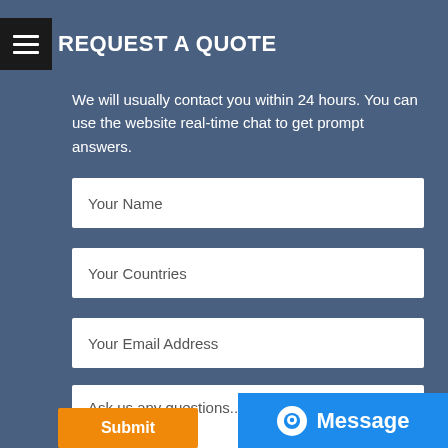REQUEST A QUOTE
We will usually contact you within 24 hours. You can use the website real-time chat to get prompt answers.
Your Name
Your Countries
Your Email Address
Ask us any questions...
Submit
Message